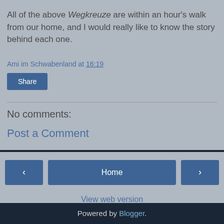All of the above Wegkreuze are within an hour's walk from our home, and I would really like to know the story behind each one.
Ami im Schwabenland at 16:19
Share
No comments:
Post a Comment
< Home >
View web version
Powered by Blogger.